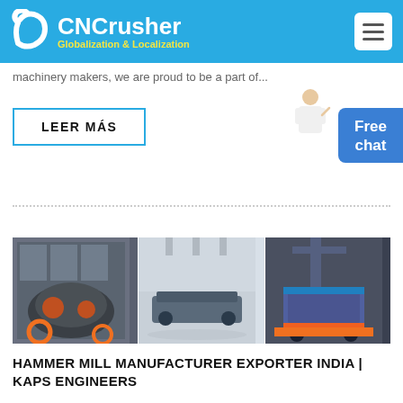CNCrusher — Globalization & Localization
machinery makers, we are proud to be a part of...
LEER MÁS
[Figure (photo): Three industrial machinery photos side by side showing hammer mills and crusher equipment in a factory setting]
HAMMER MILL MANUFACTURER EXPORTER INDIA | KAPS ENGINEERS